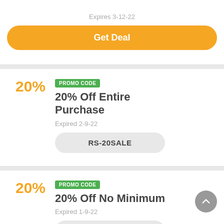Expires 3-12-22
Get Deal
PROMO CODE
20% Off Entire Purchase
20%
Expired 2-9-22
RS-20SALE
PROMO CODE
20% Off No Minimum
20%
Expired 1-9-22
RS-20SALE